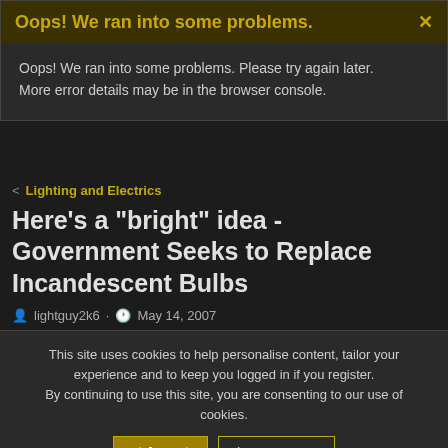Oops! We ran into some problems.
Oops! We ran into some problems. Please try again later. More error details may be in the browser console.
< Lighting and Electrics
Here's a "bright" idea - Government Seeks to Replace Incandescent Bulbs
lightguy2k6 · May 14, 2007
This site uses cookies to help personalise content, tailor your experience and to keep you logged in if you register. By continuing to use this site, you are consenting to our use of cookies.
May 14, 2007 · #1
Here is an interesting article i found today. Am i wrong in thinking that this would include bulbs used in lighting instruments, HPL, FEL, etc, etc.